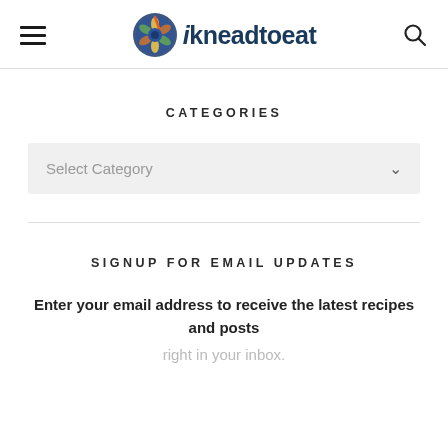ikneadtoeat
CATEGORIES
Select Category
SIGNUP FOR EMAIL UPDATES
Enter your email address to receive the latest recipes and posts right in your inbox.